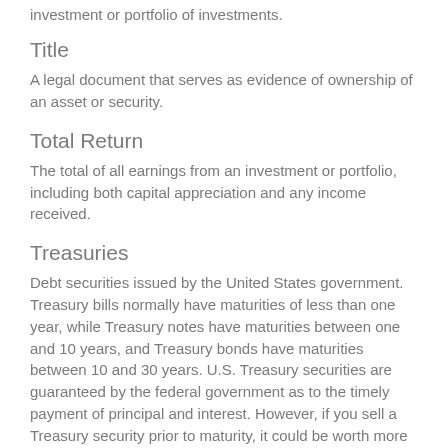investment or portfolio of investments.
Title
A legal document that serves as evidence of ownership of an asset or security.
Total Return
The total of all earnings from an investment or portfolio, including both capital appreciation and any income received.
Treasuries
Debt securities issued by the United States government. Treasury bills normally have maturities of less than one year, while Treasury notes have maturities between one and 10 years, and Treasury bonds have maturities between 10 and 30 years. U.S. Treasury securities are guaranteed by the federal government as to the timely payment of principal and interest. However, if you sell a Treasury security prior to maturity, it could be worth more or less than the original